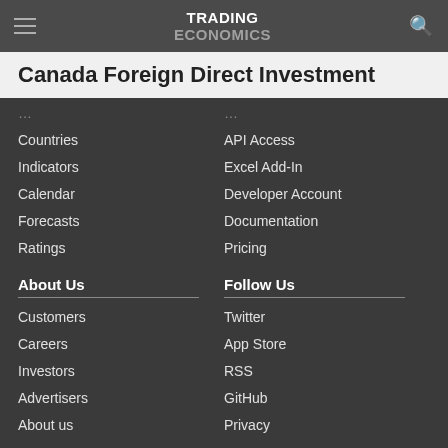TRADING ECONOMICS
Canada Foreign Direct Investment
Countries
Indicators
Calendar
Forecasts
Ratings
API Access
Excel Add-In
Developer Account
Documentation
Pricing
About Us
Customers
Careers
Investors
Advertisers
About us
Follow Us
Twitter
App Store
RSS
GitHub
Privacy
Copyright ©2022 TRADING ECONOMICS
All Rights Reserved